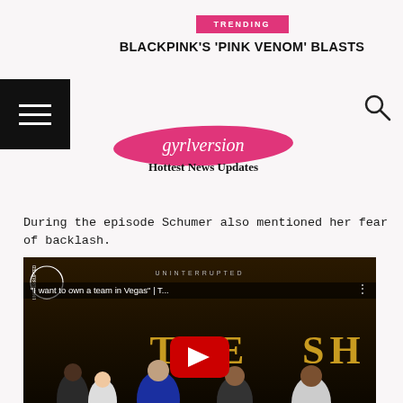TRENDING
BLACKPINK'S 'PINK VENOM' BLASTS
[Figure (logo): gyrlversion Hottest News Updates logo with pink brush stroke background]
During the episode Schumer also mentioned her fear of backlash.
[Figure (screenshot): YouTube video thumbnail for 'I want to own a team in Vegas' | The Shop, UNINTERRUPTED channel, showing group of people including Amy Schumer with YouTube play button overlay]